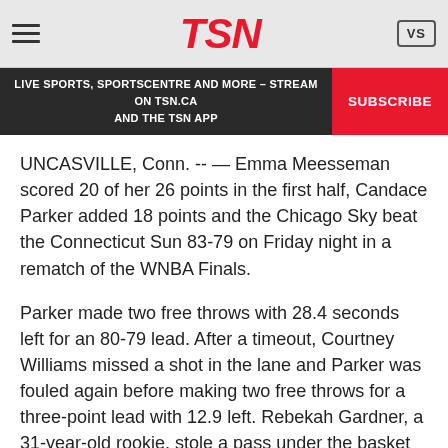TSN
LIVE SPORTS, SPORTSCENTRE AND MORE – STREAM ON TSN.CA AND THE TSN APP   SUBSCRIBE
UNCASVILLE, Conn. -- — Emma Meesseman scored 20 of her 26 points in the first half, Candace Parker added 18 points and the Chicago Sky beat the Connecticut Sun 83-79 on Friday night in a rematch of the WNBA Finals.
Parker made two free throws with 28.4 seconds left for an 80-79 lead. After a timeout, Courtney Williams missed a shot in the lane and Parker was fouled again before making two free throws for a three-point lead with 12.9 left. Rebekah Gardner, a 31-year-old rookie, stole a pass under the basket and added another free throw to seal it.